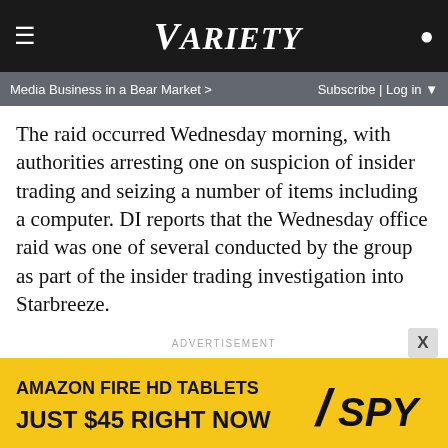VARIETY
Media Business in a Bear Market > | Subscribe | Log in
The raid occurred Wednesday morning, with authorities arresting one on suspicion of insider trading and seizing a number of items including a computer. DI reports that the Wednesday office raid was one of several conducted by the group as part of the insider trading investigation into Starbreeze.
ADVERTISEMENT
[Figure (other): Amazon Fire HD Tablets Just $45 Right Now advertisement banner with yellow background and SPY logo]